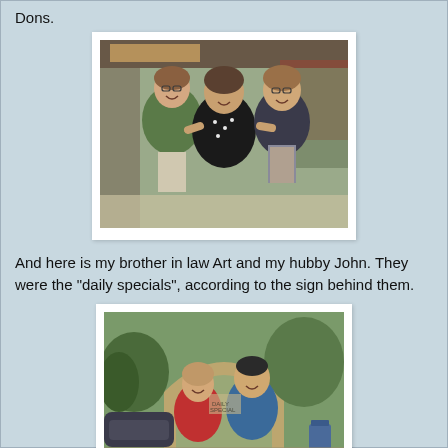Dons.
[Figure (photo): Three women smiling together outdoors under an awning; woman on left wears a green shirt, woman in center wears a black polka-dot top, woman on right wears a dark top and holds a book or magazine.]
And here is my brother in law Art and my hubby John.  They were the "daily specials", according to the sign behind them.
[Figure (photo): Two men standing together outdoors under an arched structure surrounded by trees; man on left wears a red shirt, man on right wears a blue shirt.]